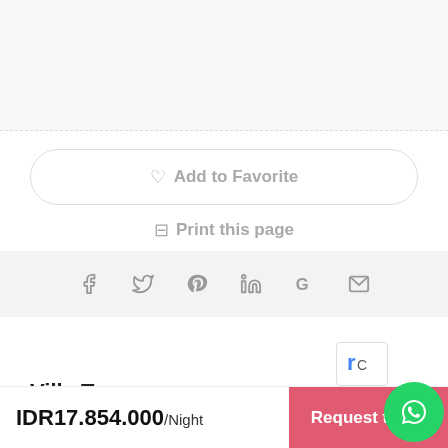Add to Favorite
Print this page
[Figure (other): Social media share icons: Facebook, Twitter, Pinterest, LinkedIn, Google, Email]
Villa Type
IDR17.854.000/Night
Request to Book